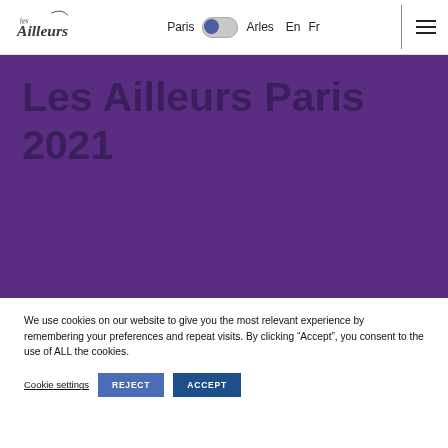Les Ailleurs — Paris | Arles | En | Fr
Les Ailleurs Paris 2021
We use cookies on our website to give you the most relevant experience by remembering your preferences and repeat visits. By clicking “Accept”, you consent to the use of ALL the cookies.
Cookie settings | REJECT | ACCEPT